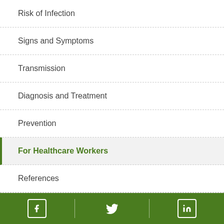Risk of Infection
Signs and Symptoms
Transmission
Diagnosis and Treatment
Prevention
For Healthcare Workers
References
Facebook | Twitter | LinkedIn